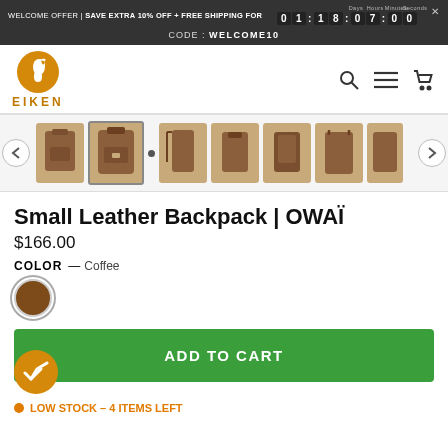WELCOME OFFER | SAVE EXTRA 10% OFF + FREE SHIPPING FOR 01:18:07:00 CODE: WELCOME10
[Figure (logo): Eiken brand logo — golden horse silhouette in circle with EIKEN text]
Small Leather Backpack | OWAÏ
$166.00
COLOR — Coffee
[Figure (other): Color swatch circle for Coffee color, brown/dark tan]
ADD TO CART
LOW STOCK – 4 ITEMS LEFT